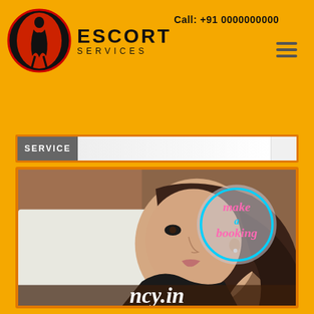[Figure (logo): Escort Services logo with red oval containing a pin-up figure silhouette and the text ESCORT SERVICES]
Call: +91 0000000000
[Figure (other): Navigation bar strip with SERVICE text]
[Figure (photo): Photo of a young woman lying down looking at camera, with a neon 'make a booking' circular badge overlay on her face, and partial website URL text at the bottom reading 'ncy.in']